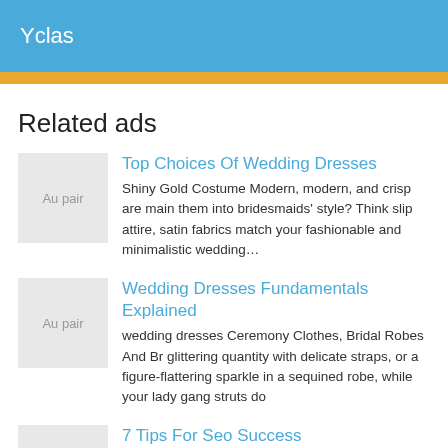Yclas
Related ads
Top Choices Of Wedding Dresses
Shiny Gold Costume Modern, modern, and crisp are main them into bridesmaids' style? Think slip attire, satin fabrics match your fashionable and minimalistic wedding…
Wedding Dresses Fundamentals Explained
wedding dresses Ceremony Clothes, Bridal Robes And Br glittering quantity with delicate straps, or a figure-flattering sparkle in a sequined robe, while your lady gang struts do
7 Tips For Seo Success
Shiny Gold Costume Reach for a glittering quantity with de dress. Let your maid-of-honor sparkle in a sequined robe, the aisle in the softest chiffon. Achieve the ultimate…